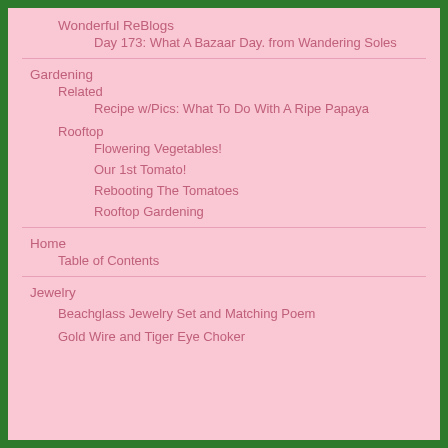Wonderful ReBlogs
Day 173: What A Bazaar Day. from Wandering Soles
Gardening
Related
Recipe w/Pics: What To Do With A Ripe Papaya
Rooftop
Flowering Vegetables!
Our 1st Tomato!
Rebooting The Tomatoes
Rooftop Gardening
Home
Table of Contents
Jewelry
Beachglass Jewelry Set and Matching Poem
Gold Wire and Tiger Eye Choker